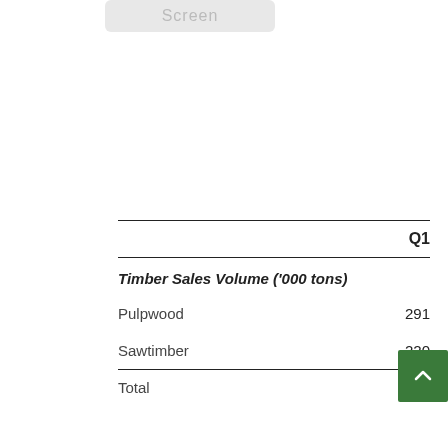|  | Q1 |
| --- | --- |
| Timber Sales Volume ('000 tons) |  |
| Pulpwood | 291 |
| Sawtimber | 220 |
| Total | 511 |